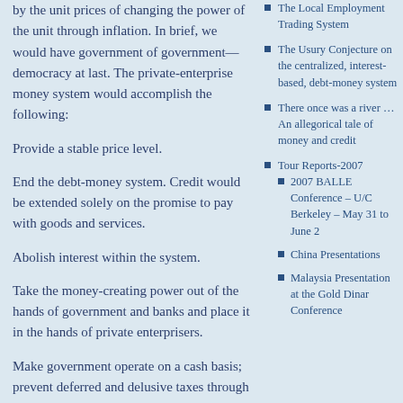by the unit prices of changing the power of the unit through inflation. In brief, we would have government of government—democracy at last. The private-enterprise money system would accomplish the following:
Provide a stable price level.
End the debt-money system. Credit would be extended solely on the promise to pay with goods and services.
Abolish interest within the system.
Take the money-creating power out of the hands of government and banks and place it in the hands of private enterprisers.
Make government operate on a cash basis; prevent deferred and delusive taxes through
The Local Employment Trading System
The Usury Conjecture on the centralized, interest-based, debt-money system
There once was a river …An allegorical tale of money and credit
Tour Reports-2007
2007 BALLE Conference – U/C Berkeley – May 31 to June 2
China Presentations
Malaysia Presentation at the Gold Dinar Conference